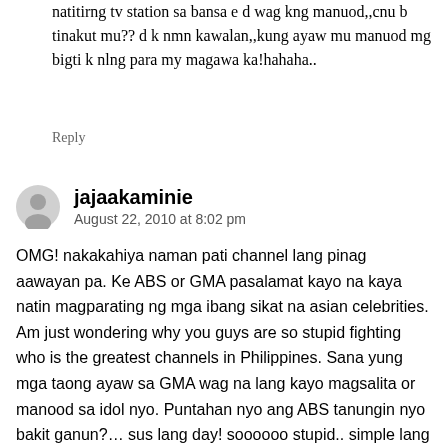natitirng tv station sa bansa e d wag kng manuod,,cnu b tinakut mu?? d k nmn kawalan,,kung ayaw mu manuod mg bigti k nlng para my magawa ka!hahaha..
Reply
jajaakaminie
August 22, 2010 at 8:02 pm
OMG! nakakahiya naman pati channel lang pinag aawayan pa. Ke ABS or GMA pasalamat kayo na kaya natin magparating ng mga ibang sikat na asian celebrities. Am just wondering why you guys are so stupid fighting who is the greatest channels in Philippines. Sana yung mga taong ayaw sa GMA wag na lang kayo magsalita or manood sa idol nyo. Puntahan nyo ang ABS tanungin nyo bakit ganun?… sus lang day! soooooo stupid.. simple lang yan!!! wag kang manuod ng GMA. antayin mo sa ABS kung kailan mo mapapanood mga idol mo sa channel na gusto mo. Sana naman na gets mo ano sabi ni mytor? so pathetic mga ABS fans..